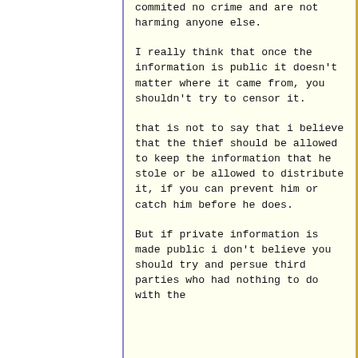commited no crime and are not harming anyone else.
I really think that once the information is public it doesn't matter where it came from, you shouldn't try to censor it.
that is not to say that i believe that the thief should be allowed to keep the information that he stole or be allowed to distribute it, if you can prevent him or catch him before he does.
But if private information is made public i don't believe you should try and persue third parties who had nothing to do with the